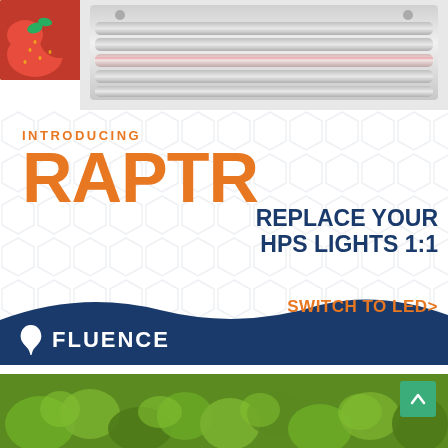[Figure (photo): LED grow light fixture bar with strawberries in top-left corner, shown against white background]
INTRODUCING RAPTR
REPLACE YOUR HPS LIGHTS 1:1
SWITCH TO LED>
[Figure (logo): Fluence logo with white leaf/bird icon and FLUENCE text in white on dark blue background]
[Figure (photo): Green lettuce plants photo strip at bottom of page]